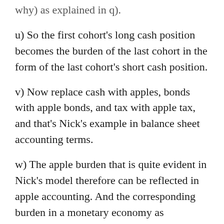u) So the first cohort's long cash position becomes the burden of the last cohort in the form of the last cohort's short cash position.
v) Now replace cash with apples, bonds with apple bonds, and tax with apple tax, and that's Nick's example in balance sheet accounting terms.
w) The apple burden that is quite evident in Nick's model therefore can be reflected in apple accounting. And the corresponding burden in a monetary economy as